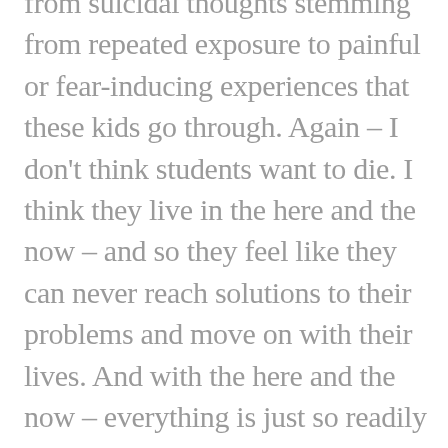from suicidal thoughts stemming from repeated exposure to painful or fear-inducing experiences that these kids go through. Again – I don't think students want to die. I think they live in the here and the now – and so they feel like they can never reach solutions to their problems and move on with their lives. And with the here and the now – everything is just so readily available to them. I mean, you text somebody and you get an immediate response. You pick up your smartphone and someone is automatically there. You go to the bank – and an ATM spits out cash. I think the biggest problems with our youth today are the lack of coping skills and problem-solving skills. If we could focus more on social and emotional learning in our schools, I think we